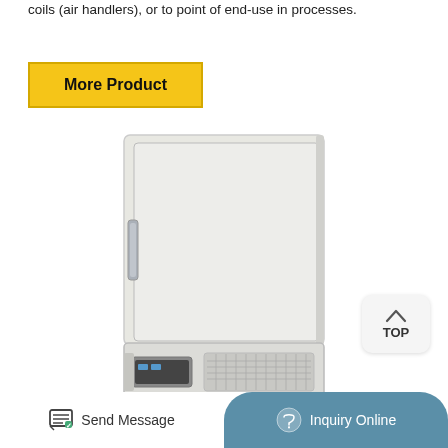coils (air handlers), or to point of end-use in processes.
More Product
[Figure (photo): Ultra-low temperature laboratory freezer, upright style, light grey color with a handle on the left side and ventilation grille at the bottom.]
TOP
Send Message
Inquiry Online